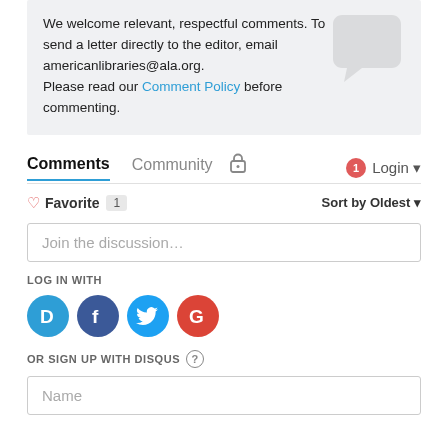We welcome relevant, respectful comments. To send a letter directly to the editor, email americanlibraries@ala.org.
Please read our Comment Policy before commenting.
Comments  Community  🔒  1  Login ▾
♡ Favorite 1   Sort by Oldest ▾
Join the discussion…
LOG IN WITH
[Figure (infographic): Four social login buttons: Disqus (blue), Facebook (dark blue), Twitter (light blue), Google (red)]
OR SIGN UP WITH DISQUS ?
Name